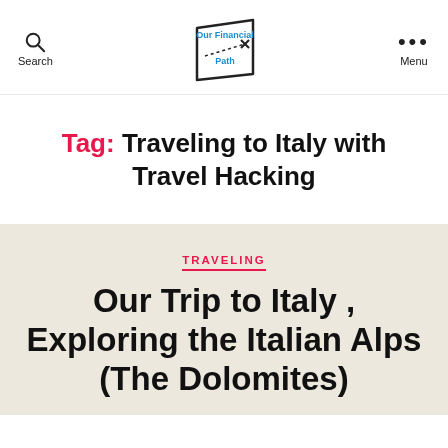Search | Our Financial Path | Menu
Tag: Traveling to Italy with Travel Hacking
TRAVELING
Our Trip to Italy , Exploring the Italian Alps (The Dolomites)